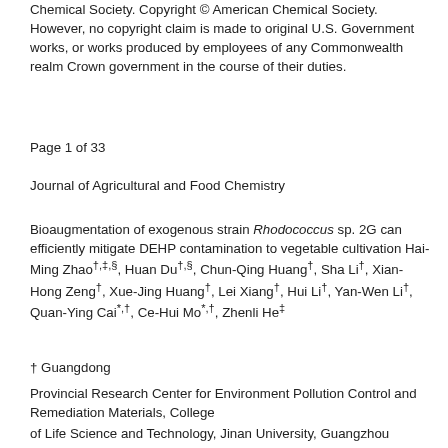Chemical Society. Copyright © American Chemical Society. However, no copyright claim is made to original U.S. Government works, or works produced by employees of any Commonwealth realm Crown government in the course of their duties.
Page 1 of 33
Journal of Agricultural and Food Chemistry
Bioaugmentation of exogenous strain Rhodococcus sp. 2G can efficiently mitigate DEHP contamination to vegetable cultivation Hai-Ming Zhao†,‡,§, Huan Du†,§, Chun-Qing Huang†, Sha Li†, Xian-Hong Zeng†, Xue-Jing Huang†, Lei Xiang†, Hui Li†, Yan-Wen Li†, Quan-Ying Cai*,†, Ce-Hui Mo*,†, Zhenli He‡
† Guangdong
Provincial Research Center for Environment Pollution Control and Remediation Materials, College
of Life Science and Technology, Jinan University, Guangzhou 510632, China ‡ Indian
River Research and Education Center, Institute of Food and